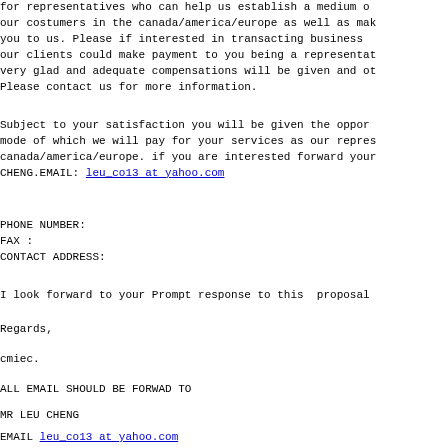for representatives who can help us establish a medium of our costumers in the canada/america/europe as well as make you to us. Please if interested in transacting business our clients could make payment to you being a representat very glad and adequate compensations will be given and ot Please contact us for more information.
Subject to your satisfaction you will be given the oppor mode of which we will pay for your services as our repres canada/america/europe. if you are interested forward your CHENG.EMAIL: leu_co13 at yahoo.com
PHONE NUMBER:
FAX :
CONTACT ADDRESS:
I look forward to your Prompt response to this  proposal
Regards,
cmiec.
ALL EMAIL SHOULD BE FORWAD TO
MR LEU CHENG
EMAIL leu_co13 at yahoo.com